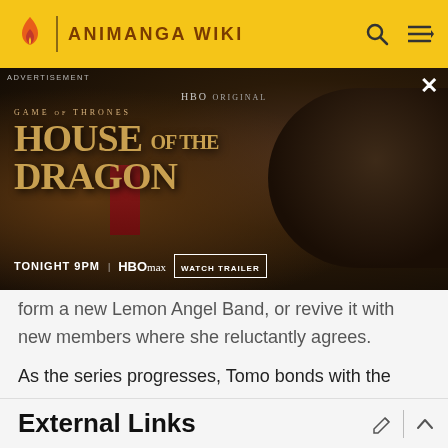ANIMANGA WIKI
[Figure (screenshot): HBO Original advertisement for House of the Dragon - Game of Thrones spinoff. Shows a woman in red dress with dragon imagery. Text reads: GAME of THRONES HOUSE OF THE DRAGON TONIGHT 9PM | HBOMAX | WATCH TRAILER]
form a new Lemon Angel Band, or revive it with new members where she reluctantly agrees.
As the series progresses, Tomo bonds with the other four members of the band (out of the audition), and along the way, each learn the values of trust, friendship, and inner strength, as they do their best to perform for the Lemon Angel Project.
External Links